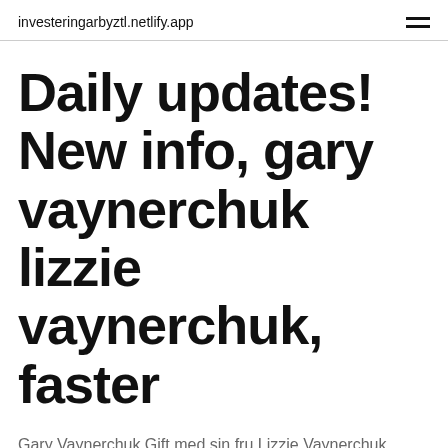investeringarbyztl.netlify.app
Daily updates! New info, gary vaynerchuk lizzie vaynerchuk, faster
Gary Vaynerchuk Gift med sin fru Lizzie Vaynerchuk 2004. Känn
Lizzie Vaynerchuk ist die ruhige und reservierte